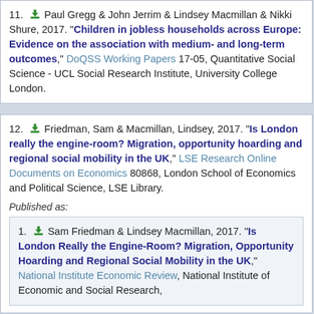11. Paul Gregg & John Jerrim & Lindsey Macmillan & Nikki Shure, 2017. "Children in jobless households across Europe: Evidence on the association with medium- and long-term outcomes," DoQSS Working Papers 17-05, Quantitative Social Science - UCL Social Research Institute, University College London.
12. Friedman, Sam & Macmillan, Lindsey, 2017. "Is London really the engine-room? Migration, opportunity hoarding and regional social mobility in the UK," LSE Research Online Documents on Economics 80868, London School of Economics and Political Science, LSE Library.
Published as:
1. Sam Friedman & Lindsey Macmillan, 2017. "Is London Really the Engine-Room? Migration, Opportunity Hoarding and Regional Social Mobility in the UK," National Institute Economic Review, National Institute of Economic and Social Research,